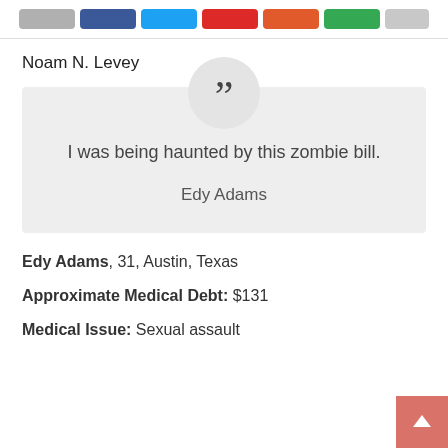[Share buttons bar]
Noam N. Levey
[Figure (other): Pull quote block with quotation mark icon: 'I was being haunted by this zombie bill.' attributed to Edy Adams]
Edy Adams, 31, Austin, Texas
Approximate Medical Debt: $131
Medical Issue: Sexual assault